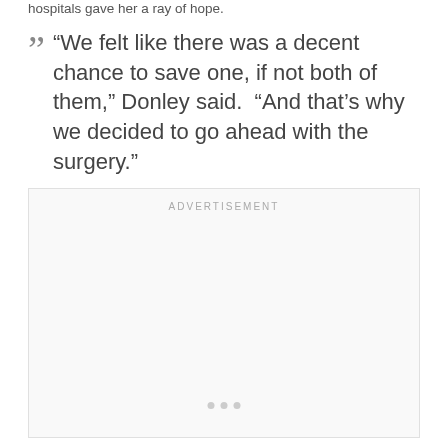hospitals gave her a ray of hope.
“We felt like there was a decent chance to save one, if not both of them,” Donley said.  “And that’s why we decided to go ahead with the surgery.”
[Figure (other): Advertisement placeholder box with 'ADVERTISEMENT' label and three dots at bottom]